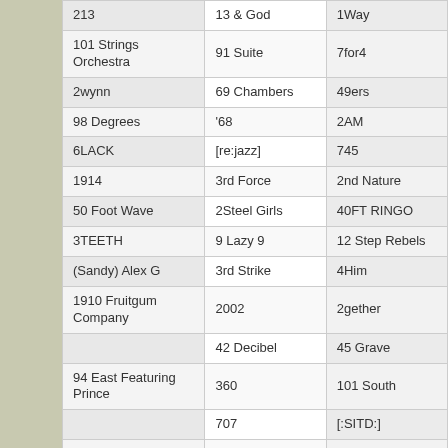| 213 | 13 & God | 1Way |
| 101 Strings Orchestra | 91 Suite | 7for4 |
| 2wynn | 69 Chambers | 49ers |
| 98 Degrees | '68 | 2AM |
| 6LACK | [re:jazz] | 745 |
| 1914 | 3rd Force | 2nd Nature |
| 50 Foot Wave | 2Steel Girls | 40FT RINGO |
| 3TEETH | 9 Lazy 9 | 12 Step Rebels |
| (Sandy) Alex G | 3rd Strike | 4Him |
| 1910 Fruitgum Company | 2002 | 2gether |
|  | 42 Decibel | 45 Grave |
| 94 East Featuring Prince | 360 | 101 South |
|  | 707 | [:SITD:] |
| 1990s | +/- | [X]-Rx |
| 6ix9ine | 38 Spesh | 3 Amigos |
| The 411 | 03 Greedo | [+] Z.e.t.a. X |
| ... |  |  |